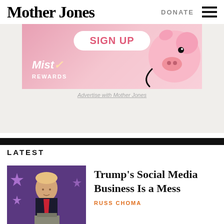Mother Jones | DONATE
[Figure (illustration): Pink advertisement banner with 'SIGN UP' button and Mist Rewards logo with pig illustration]
Advertise with Mother Jones
LATEST
[Figure (photo): Photo of Donald Trump at podium with purple star backdrop]
Trump's Social Media Business Is a Mess
RUSS CHOMA